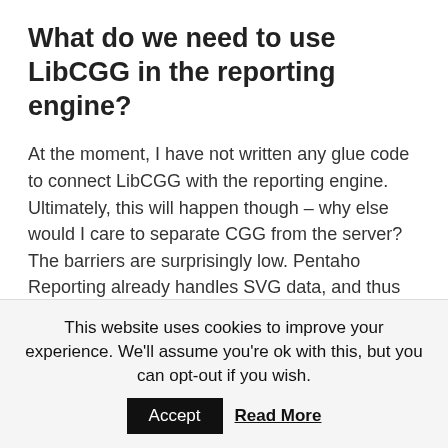What do we need to use LibCGG in the reporting engine?
At the moment, I have not written any glue code to connect LibCGG with the reporting engine. Ultimately, this will happen though – why else would I care to separate CGG from the server? The barriers are surprisingly low. Pentaho Reporting already handles SVG data, and thus LibCGG needs just a thin wrapper around an existing element for a first show-off.
After that, we will need a chart editor. Pedro assured me that CCC charts come with enough metadata to make it easy to get a basic one up and running quickly. Once we have that, I am sure our UI team will want to come in to make that
This website uses cookies to improve your experience. We'll assume you're ok with this, but you can opt-out if you wish.
Accept   Read More